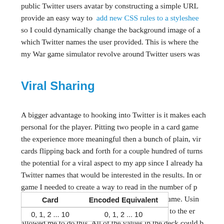public Twitter users avatar by constructing a simple URL provide an easy way to add new CSS rules to a stylesheet so I could dynamically change the background image of a which Twitter names the user provided. This is where the my War game simulator revolve around Twitter users was
Viral Sharing
A bigger advantage to hooking into Twitter is it makes each personal for the player. Pitting two people in a card game the experience more meaningful then a bunch of plain, virtual cards flipping back and forth for a couple hundred of turns the potential for a viral aspect to my app since I already had Twitter names that would be interested in the results. In order game I needed to create a way to read in the number of players twitter name, and their deck at the start of the game. Using of characters that represented this data attached to the end allowed me to do this. All of the values in the deck could be number or letter since I had unique first letters.
| Card | Encoded Equivalent |
| --- | --- |
| 0, 1, 2 ... 10 | 0, 1, 2 ... 10 |